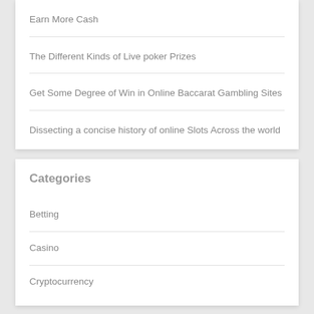Earn More Cash
The Different Kinds of Live poker Prizes
Get Some Degree of Win in Online Baccarat Gambling Sites
Dissecting a concise history of online Slots Across the world
Categories
Betting
Casino
Cryptocurrency